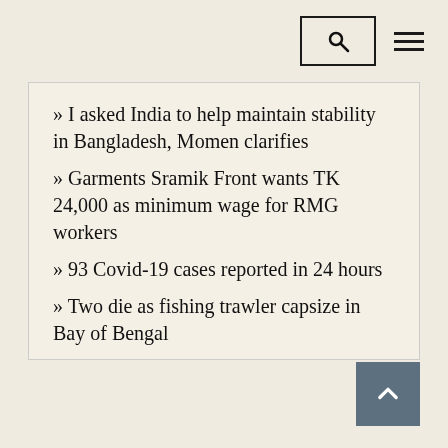Search | Menu
» I asked India to help maintain stability in Bangladesh, Momen clarifies
» Garments Sramik Front wants TK 24,000 as minimum wage for RMG workers
» 93 Covid-19 cases reported in 24 hours
» Two die as fishing trawler capsize in Bay of Bengal
» Heatwave may abate in next 24 hours
» Baby born on launch gets free lifetime travel pass